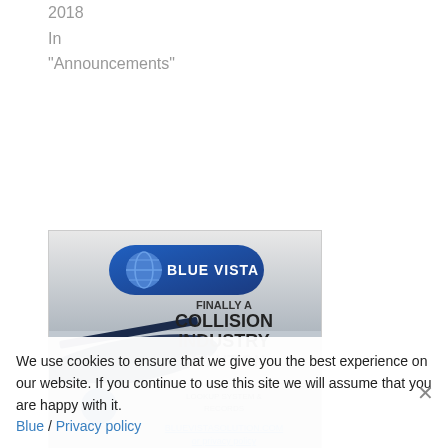2018
In
"Announcements"
[Figure (illustration): Blue Vista advertisement image showing a logo with globe icon and text 'FINALLY A COLLISION INDUSTRY SOLUTION' with additional product details below]
We use cookies to ensure that we give you the best experience on our website. If you continue to use this site we will assume that you are happy with it.
Blue / Privacy policy